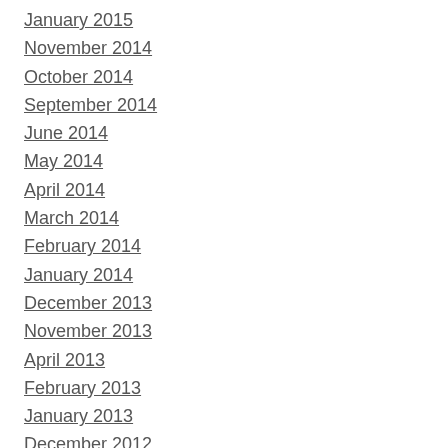January 2015
November 2014
October 2014
September 2014
June 2014
May 2014
April 2014
March 2014
February 2014
January 2014
December 2013
November 2013
April 2013
February 2013
January 2013
December 2012
November 2012
October 2012
September 2012